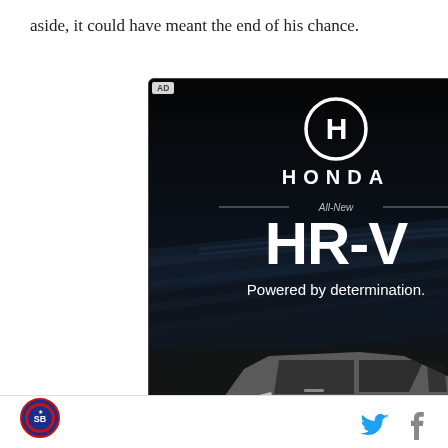aside, it could have meant the end of his chance.
[Figure (advertisement): Honda HR-V advertisement on black background. Shows Honda logo (H in circle), HONDA text, 'All-New HR-V' text, 'Powered by determination.' tagline, and a gray Honda HR-V SUV on a dark road with motion blur streaks. AD label in top-left corner.]
[Figure (logo): Circular sports team/site logo in red, white and blue at bottom left]
[Figure (illustration): Twitter bird icon (blue) and Facebook 'f' icon (gray) for social sharing at bottom right]